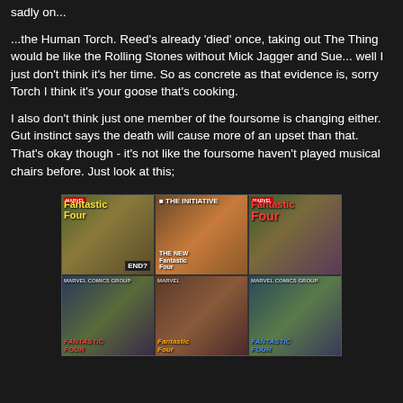sadly on...
...the Human Torch. Reed's already 'died' once, taking out The Thing would be like the Rolling Stones without Mick Jagger and Sue... well I just don't think it's her time. So as concrete as that evidence is, sorry Torch I think it's your goose that's cooking.
I also don't think just one member of the foursome is changing either. Gut instinct says the death will cause more of an upset than that. That's okay though - it's not like the foursome haven't played musical chairs before. Just look at this;
[Figure (photo): A collage of six Fantastic Four comic book covers arranged in a 3x2 grid, showing various lineups and eras of the team including covers featuring The Thing, Human Torch, and other characters. Titles visible include 'Fantastic Four', 'The Initiative', and 'The New Fantastic Four'.]